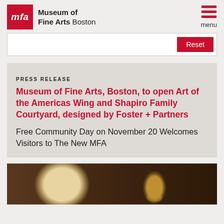Museum of Fine Arts Boston
Reset
PRESS RELEASE
Museum of Fine Arts, Boston, to open Art of the Americas Wing and Shapiro Family Courtyard, designed by Foster + Partners
Free Community Day on November 20 Welcomes Visitors to The New MFA
[Figure (photo): Painting of a yellow Labrador dog with a golden urn/vase object in the background, dark interior scene]